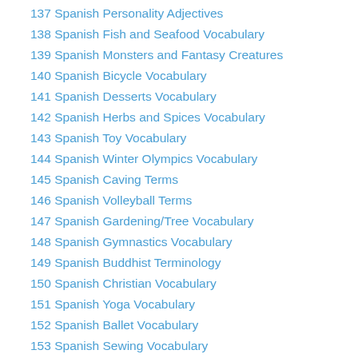137 Spanish Personality Adjectives
138 Spanish Fish and Seafood Vocabulary
139 Spanish Monsters and Fantasy Creatures
140 Spanish Bicycle Vocabulary
141 Spanish Desserts Vocabulary
142 Spanish Herbs and Spices Vocabulary
143 Spanish Toy Vocabulary
144 Spanish Winter Olympics Vocabulary
145 Spanish Caving Terms
146 Spanish Volleyball Terms
147 Spanish Gardening/Tree Vocabulary
148 Spanish Gymnastics Vocabulary
149 Spanish Buddhist Terminology
150 Spanish Christian Vocabulary
151 Spanish Yoga Vocabulary
152 Spanish Ballet Vocabulary
153 Spanish Sewing Vocabulary
154 Spanish Cheese Vocabulary
155 Spanish Hors d'oeuvre Vocabulary
156 Spanish Food Preparation Vocabulary